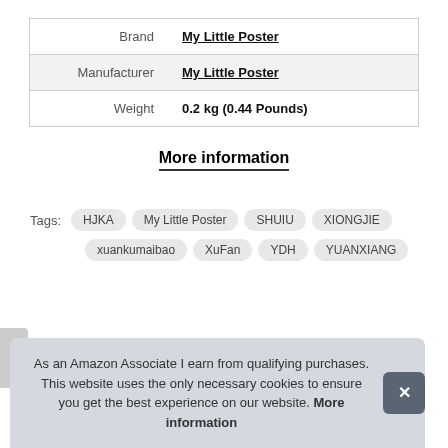| Brand | My Little Poster |
| Manufacturer | My Little Poster |
| Weight | 0.2 kg (0.44 Pounds) |
More information
Tags: HJKA My Little Poster SHUIU XIONGJIE xuankumaibao XuFan YDH YUANXIANG
As an Amazon Associate I earn from qualifying purchases. This website uses the only necessary cookies to ensure you get the best experience on our website. More information